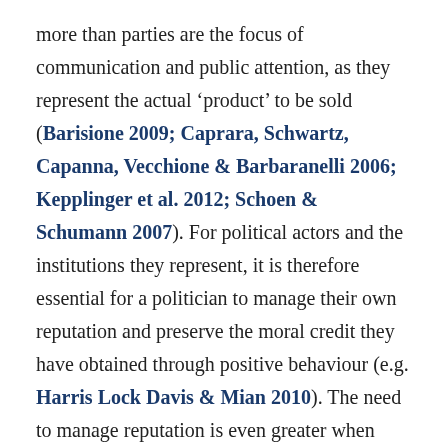more than parties are the focus of communication and public attention, as they represent the actual 'product' to be sold (Barisione 2009; Caprara, Schwartz, Capanna, Vecchione & Barbaranelli 2006; Kepplinger et al. 2012; Schoen & Schumann 2007). For political actors and the institutions they represent, it is therefore essential for a politician to manage their own reputation and preserve the moral credit they have obtained through positive behaviour (e.g. Harris Lock Davis & Mian 2010). The need to manage reputation is even greater when politicians face a scandal and the negative consequences it may entail. In this case, politicians can employ different image restoration strategies to limit their own responsibility for a scandal and minimise the gravity of the offence in the court of